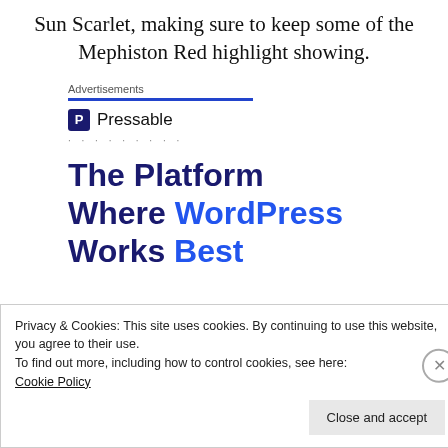Sun Scarlet, making sure to keep some of the Mephiston Red highlight showing.
Advertisements
[Figure (logo): Pressable logo with icon and dotted line below]
The Platform Where WordPress Works Best
Privacy & Cookies: This site uses cookies. By continuing to use this website, you agree to their use. To find out more, including how to control cookies, see here: Cookie Policy
Close and accept